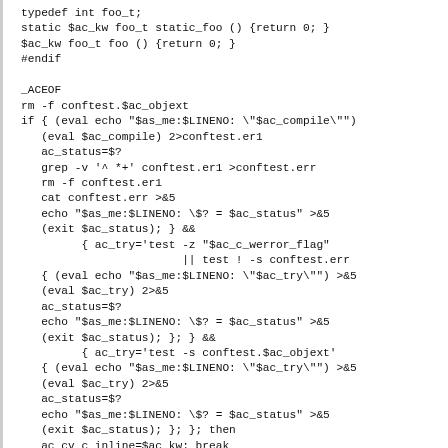typedef int foo_t;
static $ac_kw foo_t static_foo () {return 0; }
$ac_kw foo_t foo () {return 0; }
#endif

_ACEOF
rm -f conftest.$ac_objext
if { (eval echo "$as_me:$LINENO: \"$ac_compile\"")
   (eval $ac_compile) 2>conftest.er1
   ac_status=$?
   grep -v '^ *+' conftest.er1 >conftest.err
   rm -f conftest.er1
   cat conftest.err >&5
   echo "$as_me:$LINENO: \$? = $ac_status" >&5
   (exit $ac_status); } &&
         { ac_try='test -z "$ac_c_werror_flag"
                        || test ! -s conftest.err
   { (eval echo "$as_me:$LINENO: \"$ac_try\"") >&5
   (eval $ac_try) 2>&5
   ac_status=$?
   echo "$as_me:$LINENO: \$? = $ac_status" >&5
   (exit $ac_status); }; } &&
         { ac_try='test -s conftest.$ac_objext'
   { (eval echo "$as_me:$LINENO: \"$ac_try\"") >&5
   (eval $ac_try) 2>&5
   ac_status=$?
   echo "$as_me:$LINENO: \$? = $ac_status" >&5
   (exit $ac_status); }; }; then
   ac_cv_c_inline=$ac_kw; break
else
   echo "$as_me: failed program was:" >&5
sed 's/^/| /' conftest.$ac_ext >&5